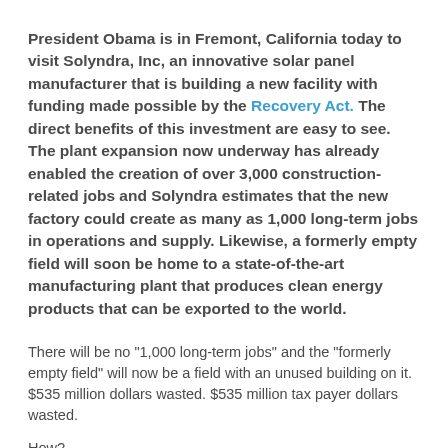President Obama is in Fremont, California today to visit Solyndra, Inc, an innovative solar panel manufacturer that is building a new facility with funding made possible by the Recovery Act. The direct benefits of this investment are easy to see. The plant expansion now underway has already enabled the creation of over 3,000 construction-related jobs and Solyndra estimates that the new factory could create as many as 1,000 long-term jobs in operations and supply. Likewise, a formerly empty field will soon be home to a state-of-the-art manufacturing plant that produces clean energy products that can be exported to the world.
There will be no "1,000 long-term jobs" and the "formerly empty field" will now be a field with an unused building on it. $535 million dollars wasted. $535 million tax payer dollars wasted.
How?